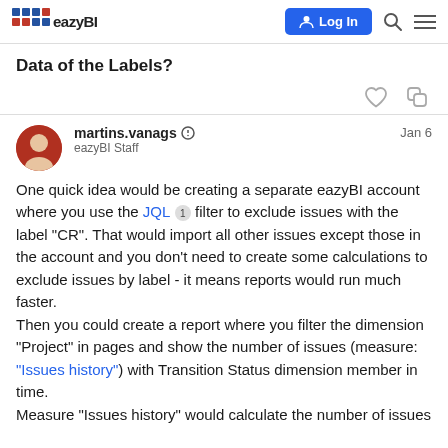eazyBI  Log In
Data of the Labels?
martins.vanags  eazyBI Staff  Jan 6
One quick idea would be creating a separate eazyBI account where you use the JQL 1 filter to exclude issues with the label “CR”. That would import all other issues except those in the account and you don’t need to create some calculations to exclude issues by label - it means reports would run much faster.
Then you could create a report where you filter the dimension “Project” in pages and show the number of issues (measure: “Issues history”) with Transition Status dimension member in time.
Measure “Issues history” would calculate the number of issues